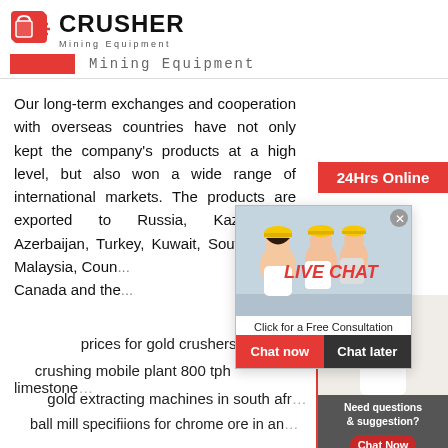[Figure (logo): Crusher Mining Equipment logo with red shopping bag icon and bold CRUSHER text]
[Figure (screenshot): Secondary header bar showing red banner and 'Mining Equipment' text in monospace]
Our long-term exchanges and cooperation with overseas countries have not only kept the company's products at a high level, but also won a wide range of international markets. The products are exported to Russia, Kazakhstan, Azerbaijan, Turkey, Kuwait, South Africa, Malaysia, Coun... Canada and the...
[Figure (screenshot): Live Chat popup with workers in hard hats, LIVE CHAT heading, 'Click for a Free Consultation', Chat now and Chat later buttons]
[Figure (infographic): Right sidebar with 24Hrs Online badge, Need questions & suggestion panel with Chat Now button, Enquiry section, and limingjlmofen@sina.com contact]
prices for gold crushers
crushing mobile plant 800 tph limestone
gold extracting machines in south afr...
ball mill specifiions for chrome ore in an...
alluvial gold washing machine